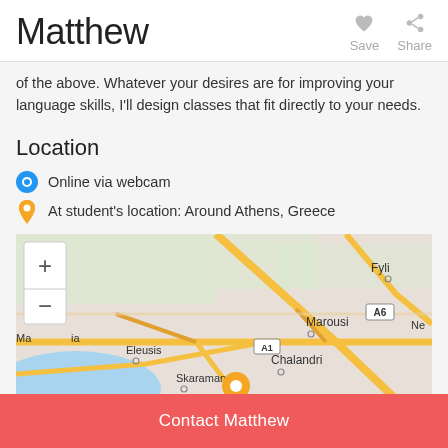Matthew
of the above. Whatever your desires are for improving your language skills, I'll design classes that fit directly to your needs.
Location
Online via webcam
At student's location: Around Athens, Greece
[Figure (map): Map showing Athens area, Greece, with locations including Fyli, Marousi, Chalandri, Eleusis, Skaramangas, and road labels A6, A1. Zoom +/- controls visible.]
Contact Matthew